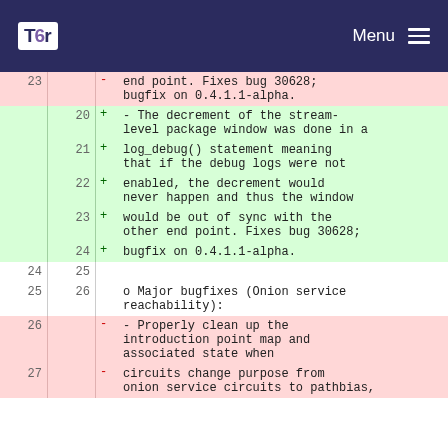Tor Menu
| old | new | sign | code |
| --- | --- | --- | --- |
| 23 |  | - |      end point. Fixes bug 30628; bugfix on 0.4.1.1-alpha. |
|  | 20 | + |      - The decrement of the stream-level package window was done in a |
|  | 21 | + |        log_debug() statement meaning that if the debug logs were not |
|  | 22 | + |        enabled, the decrement would never happen and thus the window |
|  | 23 | + |        would be out of sync with the other end point. Fixes bug 30628; |
|  | 24 | + |        bugfix on 0.4.1.1-alpha. |
| 24 | 25 |  |  |
| 25 | 26 |  |    o Major bugfixes (Onion service reachability): |
| 26 |  | - |      - Properly clean up the introduction point map and associated state when |
| 27 |  | - |        circuits change purpose from onion service circuits to pathbias, |